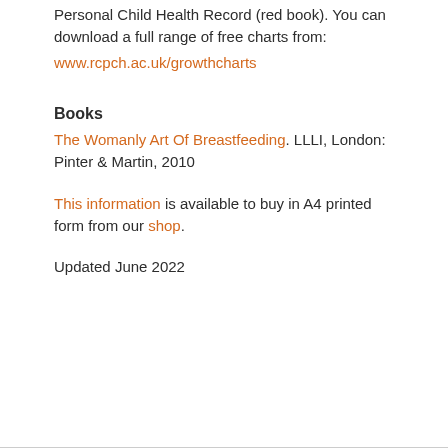Personal Child Health Record (red book). You can download a full range of free charts from:
www.rcpch.ac.uk/growthcharts
Books
The Womanly Art Of Breastfeeding. LLLI, London: Pinter & Martin, 2010
This information is available to buy in A4 printed form from our shop.
Updated June 2022